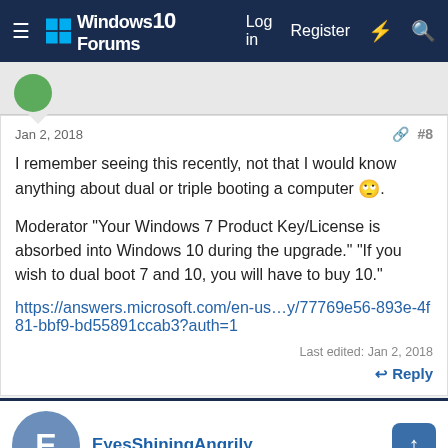Windows 10 Forums — Log in  Register
Jan 2, 2018   #8
I remember seeing this recently, not that I would know anything about dual or triple booting a computer 🙄.

Moderator "Your Windows 7 Product Key/License is absorbed into Windows 10 during the upgrade." "If you wish to dual boot 7 and 10, you will have to buy 10."
https://answers.microsoft.com/en-us…y/77769e56-893e-4f81-bbf9-bd55891ccab3?auth=1
Last edited: Jan 2, 2018
↩ Reply
EyesShiningAngrily